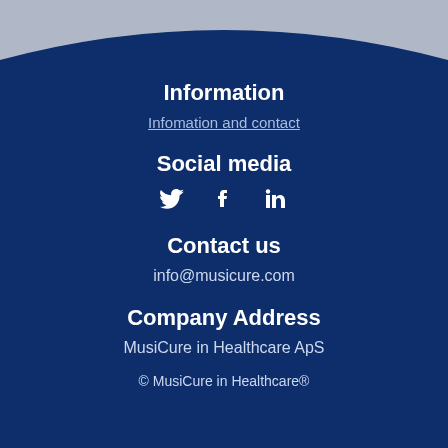Information
Infomation and contact
Social media
[Figure (infographic): Social media icons: Twitter bird, Facebook f, LinkedIn in]
Contact us
info@musicure.com
Company Address
MusiCure in Healthcare ApS
© MusiCure in Healthcare®